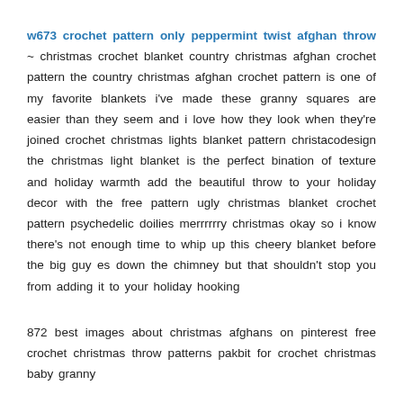w673 crochet pattern only peppermint twist afghan throw ~ christmas crochet blanket country christmas afghan crochet pattern the country christmas afghan crochet pattern is one of my favorite blankets i've made these granny squares are easier than they seem and i love how they look when they're joined crochet christmas lights blanket pattern christacodesign the christmas light blanket is the perfect bination of texture and holiday warmth add the beautiful throw to your holiday decor with the free pattern ugly christmas blanket crochet pattern psychedelic doilies merrrrrry christmas okay so i know there's not enough time to whip up this cheery blanket before the big guy es down the chimney but that shouldn't stop you from adding it to your holiday hooking
872 best images about christmas afghans on pinterest free crochet christmas throw patterns pakbit for crochet christmas baby granny